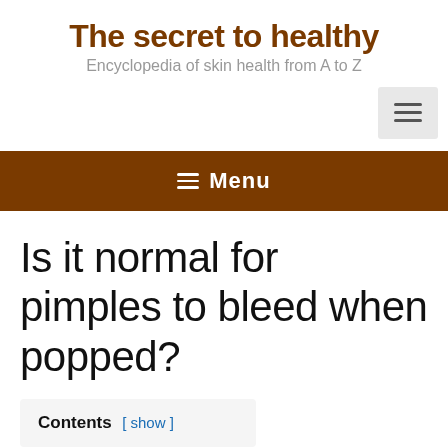The secret to healthy
Encyclopedia of skin health from A to Z
Is it normal for pimples to bleed when popped?
Contents [ show ]